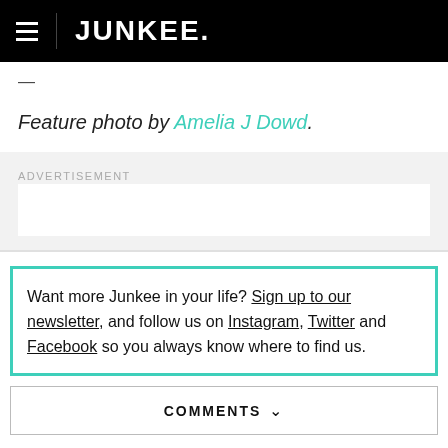JUNKEE.
—
Feature photo by Amelia J Dowd.
ADVERTISEMENT
Want more Junkee in your life? Sign up to our newsletter, and follow us on Instagram, Twitter and Facebook so you always know where to find us.
COMMENTS